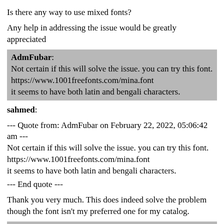Is there any way to use mixed fonts?
Any help in addressing the issue would be greatly appreciated
AdmFubar: Not certain if this will solve the issue. you can try this font. https://www.1001freefonts.com/mina.font it seems to have both latin and bengali characters.
sahmed:
--- Quote from: AdmFubar on February 22, 2022, 05:06:42 am --- Not certain if this will solve the issue. you can try this font. https://www.1001freefonts.com/mina.font it seems to have both latin and bengali characters.
--- End quote ---
Thank you very much. This does indeed solve the problem though the font isn't my preferred one for my catalog.
sahmed: I found 2 other fonts that have both Bengali and Latin. Siyam Rupali and Nikosh.